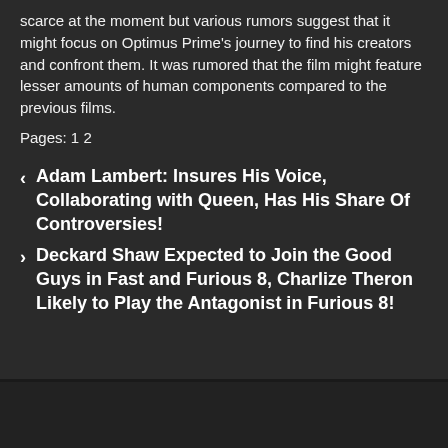scarce at the moment but various rumors suggest that it might focus on Optimus Prime's journey to find his creators and confront them. It was rumored that the film might feature lesser amounts of human components compared to the previous films.
Pages: 1 2
< Adam Lambert: Insures His Voice, Collaborating with Queen, Has His Share Of Controversies!
> Deckard Shaw Expected to Join the Good Guys in Fast and Furious 8, Charlize Theron Likely to Play the Antagonist in Furious 8!